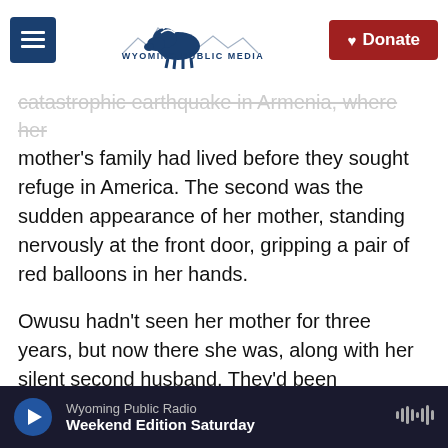Wyoming Public Media — Donate
catastrophic earthquake in Armenia, where her mother's family had lived before they sought refuge in America. The second was the sudden appearance of her mother, standing nervously at the front door, gripping a pair of red balloons in her hands.
Owusu hadn't seen her mother for three years, but now there she was, along with her silent second husband. They'd been vacationing in Italy. Her mother whisked Nadia and her sister off for a day of fun, before she vanished again.
As happens, especially in the minds of children
Wyoming Public Radio — Weekend Edition Saturday